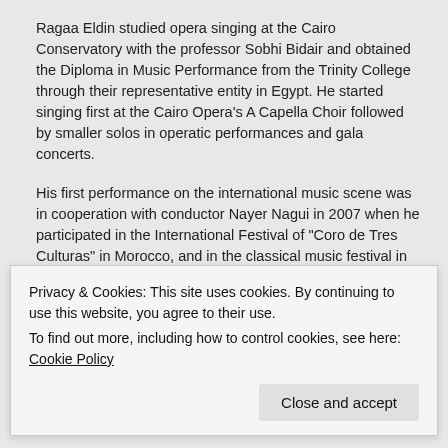Ragaa Eldin studied opera singing at the Cairo Conservatory with the professor Sobhi Bidair and obtained the Diploma in Music Performance from the Trinity College through their representative entity in Egypt. He started singing first at the Cairo Opera's A Capella Choir followed by smaller solos in operatic performances and gala concerts.
His first performance on the international music scene was in cooperation with conductor Nayer Nagui in 2007 when he participated in the International Festival of “Coro de Tres Culturas” in Morocco, and in the classical music festival in El Sawira, Morocco
“I got very impressed with the international classical music life so I decided to find a way to further develop my skills outside Egypt,” Ragaa Eldin explains mentioning the first step he took, by enrolling, at his own expense, into master classes with soprano Caroline Dumas at the...
Privacy & Cookies: This site uses cookies. By continuing to use this website, you agree to their use.
To find out more, including how to control cookies, see here: Cookie Policy
Close and accept